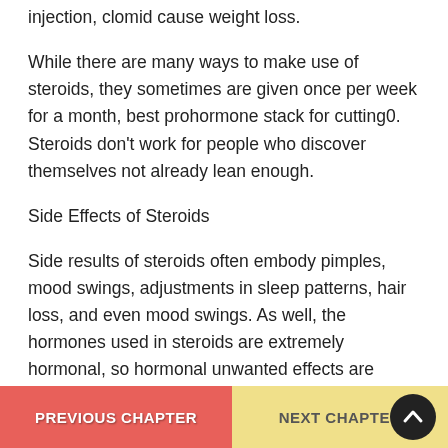injection, clomid cause weight loss.
While there are many ways to make use of steroids, they sometimes are given once per week for a month, best prohormone stack for cutting0. Steroids don’t work for people who discover themselves not already lean enough.
Side Effects of Steroids
Side results of steroids often embody pimples, mood swings, adjustments in sleep patterns, hair loss, and even mood swings. As well, the hormones used in steroids are extremely hormonal, so hormonal unwanted effects are common, weight loss steroids on. Many people complain about dropping muscle mass or getting skinny because of the steroids they use. But you will need to observe tha
PREVIOUS CHAPTER   NEXT CHAPTER